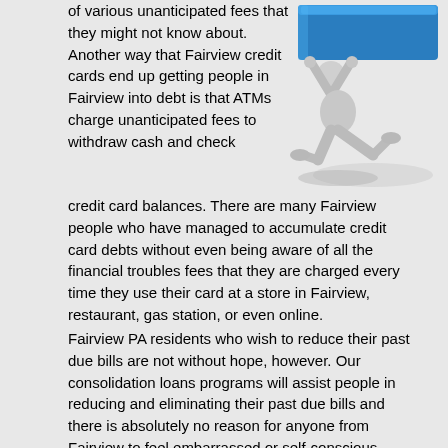of various unanticipated fees that they might not know about. Another way that Fairview credit cards end up getting people in Fairview into debt is that ATMs charge unanticipated fees to withdraw cash and check credit card balances. There are many Fairview people who have managed to accumulate credit card debts without even being aware of all the financial troubles fees that they are charged every time they use their card at a store in Fairview, restaurant, gas station, or even online.
[Figure (illustration): 3D figure of a person on hands and knees struggling under the weight of a heavy blue block, symbolizing debt burden]
Fairview PA residents who wish to reduce their past due bills are not without hope, however. Our consolidation loans programs will assist people in reducing and eliminating their past due bills and there is absolutely no reason for anyone from Fairview to feel embarrassed or self-conscious about utilizing the free services of the high interest credit card bills relief counselors. The relief loans experts are highly skilled, knowledgeable individuals who will teach you how to overcome your monthly bills and breathe a little easier at the end of the day. They will explain all of the debts relief terms and conditions in a manner that is easy to understand and will help with the process of indebtedness relief